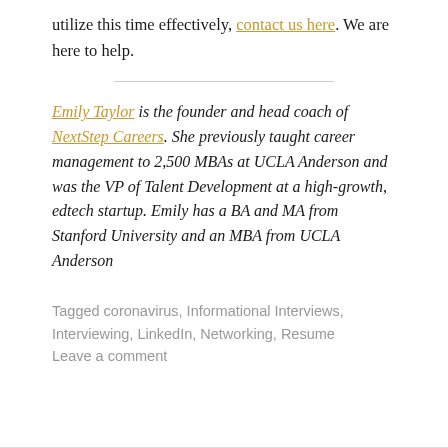utilize this time effectively, contact us here. We are here to help.
Emily Taylor is the founder and head coach of NextStep Careers. She previously taught career management to 2,500 MBAs at UCLA Anderson and was the VP of Talent Development at a high-growth, edtech startup. Emily has a BA and MA from Stanford University and an MBA from UCLA Anderson
Tagged coronavirus, Informational Interviews, Interviewing, LinkedIn, Networking, Resume
Leave a comment